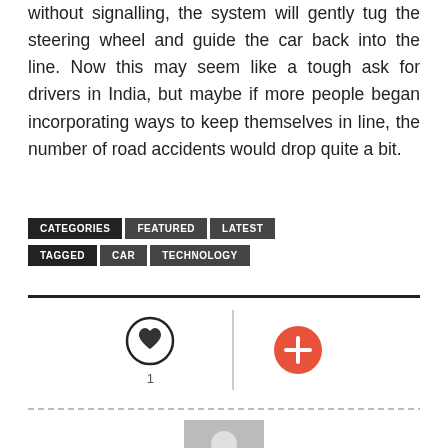without signalling, the system will gently tug the steering wheel and guide the car back into the line. Now this may seem like a tough ask for drivers in India, but maybe if more people began incorporating ways to keep themselves in line, the number of road accidents would drop quite a bit.
CATEGORIES: FEATURED | LATEST
TAGGED: CAR | TECHNOLOGY
[Figure (infographic): Heart icon with count 1, a vertical separator, and an orange plus/add button]
[Figure (photo): Grey avatar placeholder image showing a user silhouette]